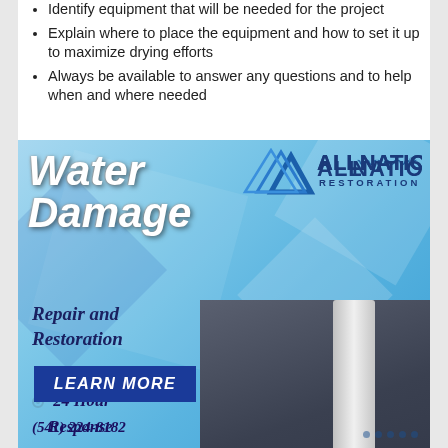Identify equipment that will be needed for the project
Explain where to place the equipment and how to set it up to maximize drying efforts
Always be available to answer any questions and to help when and where needed
[Figure (infographic): AllNation Restoration advertisement for Water Damage Repair and Restoration services. Features company logo with triangular mountain icon, 'Water Damage' title in italic white text, 'Repair and Restoration' subtitle, bullet points for 24 Hour Response and 45 Minute Response Time, a Learn More button, partial phone number (541) 224-8182, and a photo of a leaking white P-trap pipe under a sink with water splashing.]